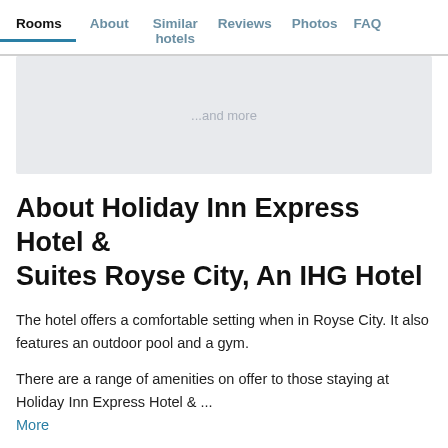Rooms | About | Similar hotels | Reviews | Photos | FAQ
[Figure (other): Light gray placeholder image area with text '...and more']
About Holiday Inn Express Hotel & Suites Royse City, An IHG Hotel
The hotel offers a comfortable setting when in Royse City. It also features an outdoor pool and a gym.
There are a range of amenities on offer to those staying at Holiday Inn Express Hotel & ...
More